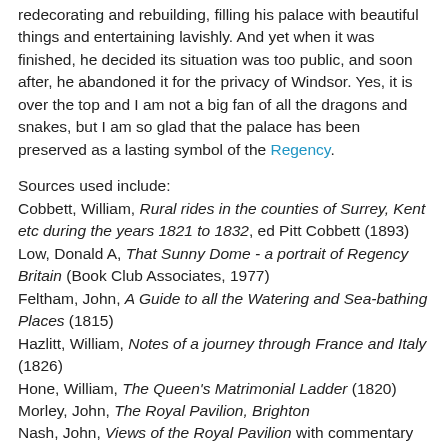redecorating and rebuilding, filling his palace with beautiful things and entertaining lavishly. And yet when it was finished, he decided its situation was too public, and soon after, he abandoned it for the privacy of Windsor. Yes, it is over the top and I am not a big fan of all the dragons and snakes, but I am so glad that the palace has been preserved as a lasting symbol of the Regency.
Sources used include:
Cobbett, William, Rural rides in the counties of Surrey, Kent etc during the years 1821 to 1832, ed Pitt Cobbett (1893)
Low, Donald A, That Sunny Dome - a portrait of Regency Britain (Book Club Associates, 1977)
Feltham, John, A Guide to all the Watering and Sea-bathing Places (1815)
Hazlitt, William, Notes of a journey through France and Italy (1826)
Hone, William, The Queen's Matrimonial Ladder (1820)
Morley, John, The Royal Pavilion, Brighton
Nash, John, Views of the Royal Pavilion with commentary by Gervase Jackson-Stops (1991)
Wilberforce, Robert Isaac and Samuel, The Life of William